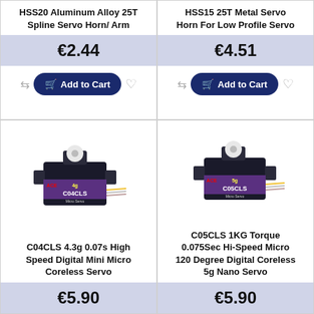HSS20 Aluminum Alloy 25T Spline Servo Horn/ Arm
€2.44
HSS15 25T Metal Servo Horn For Low Profile Servo
€4.51
[Figure (photo): C04CLS 4g micro servo product photo, black body with purple label]
C04CLS 4.3g 0.07s High Speed Digital Mini Micro Coreless Servo
€5.90
[Figure (photo): C05CLS 5g micro servo product photo, black body with purple label]
C05CLS 1KG Torque 0.075Sec Hi-Speed Micro 120 Degree Digital Coreless 5g Nano Servo
€5.90